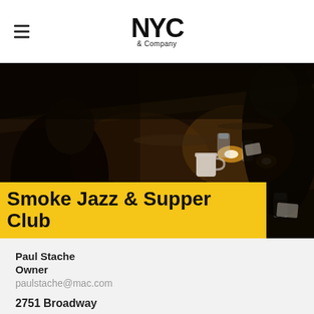NYC & Company
[Figure (photo): Dark atmospheric interior of Smoke Jazz & Supper Club bar, showing patrons seated at a bar with candles and glassware on the counter, low lighting with warm amber tones]
Smoke Jazz & Supper Club
Paul Stache
Owner
paulstache@mac.com
2751 Broadway